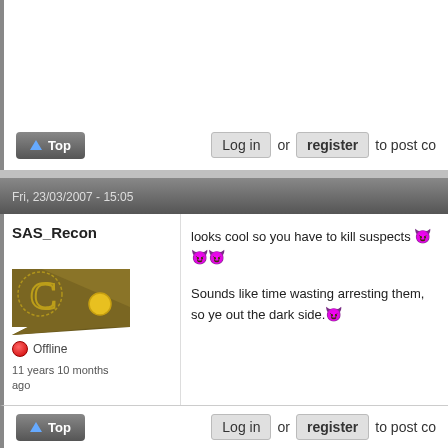Log in or register to post co
Fri, 23/03/2007 - 15:05
SAS_Recon
[Figure (illustration): User avatar showing a brown angular shape with a yellow circle and a golden C letter outline]
Offline
11 years 10 months ago
looks cool so you have to kill suspects 😈😈😈
Sounds like time wasting arresting them, so ye out the dark side. 😈
Log in or register to post co